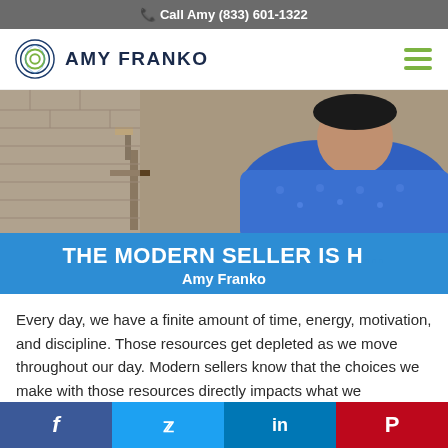📞 Call Amy (833) 601-1322
[Figure (logo): Amy Franko logo with circular icon and navigation hamburger menu]
[Figure (photo): Photo of a person in a blue patterned shirt with stone wall background — video thumbnail for 'THE MODERN SELLER IS H... by Amy Franko']
THE MODERN SELLER IS H…
Amy Franko
Every day, we have a finite amount of time, energy, motivation, and discipline. Those resources get depleted as we move throughout our day. Modern sellers know that the choices we make with those resources directly impacts what we accomplish in the
f  (Facebook)   (Twitter)   in (LinkedIn)   P (Pinterest)